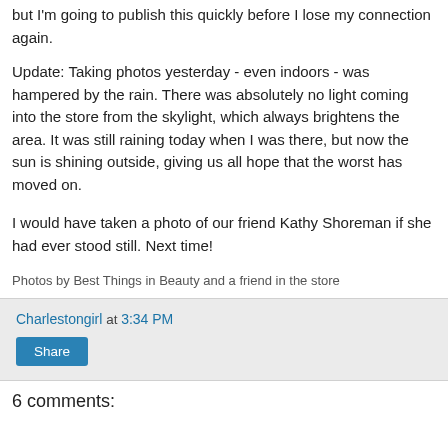but I'm going to publish this quickly before I lose my connection again.
Update: Taking photos yesterday - even indoors - was hampered by the rain. There was absolutely no light coming into the store from the skylight, which always brightens the area. It was still raining today when I was there, but now the sun is shining outside, giving us all hope that the worst has moved on.
I would have taken a photo of our friend Kathy Shoreman if she had ever stood still. Next time!
Photos by Best Things in Beauty and a friend in the store
Charlestongirl at 3:34 PM
Share
6 comments: